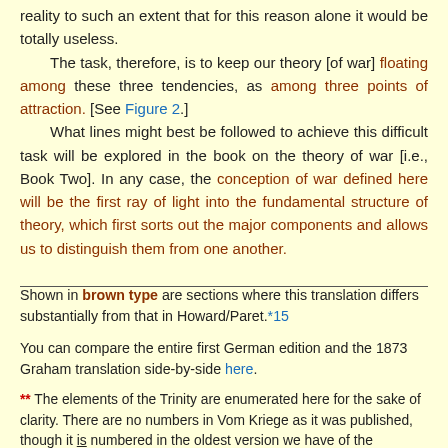reality to such an extent that for this reason alone it would be totally useless.
    The task, therefore, is to keep our theory [of war] floating among these three tendencies, as among three points of attraction. [See Figure 2.]
    What lines might best be followed to achieve this difficult task will be explored in the book on the theory of war [i.e., Book Two]. In any case, the conception of war defined here will be the first ray of light into the fundamental structure of theory, which first sorts out the major components and allows us to distinguish them from one another.
Shown in brown type are sections where this translation differs substantially from that in Howard/Paret.*15
You can compare the entire first German edition and the 1873 Graham translation side-by-side here.
** The elements of the Trinity are enumerated here for the sake of clarity. There are no numbers in Vom Kriege as it was published, though it is numbered in the oldest version we have of the concept, Aphorism #22 in Clausewitz, "Aphorismen über den Krieg und die Kriegführung," Zeitschrift für Kunst, Wissenschaft und Geschichte des Krieges, Band 28, Viertes Heft 1833 to Band 35, Siebentes Heft, 1835,